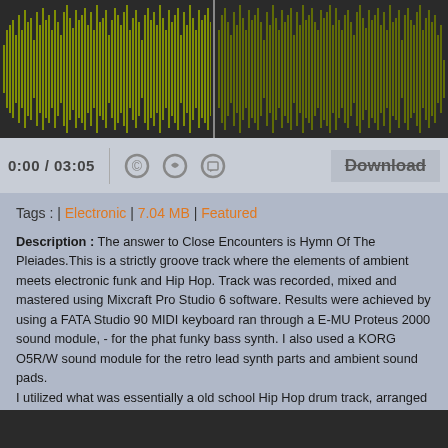[Figure (other): Audio waveform player showing a green/olive colored waveform on a dark background with a playhead in the middle]
[Figure (other): Audio player controls bar showing time 0:00 / 03:05, copyright icon, heart icon, comment icon, and a Download button with strikethrough styling]
Tags : | Electronic | 7.04 MB | Featured
Description : The answer to Close Encounters is Hymn Of The Pleiades.This is a strictly groove track where the elements of ambient meets electronic funk and Hip Hop. Track was recorded, mixed and mastered using Mixcraft Pro Studio 6 software. Results were achieved by using a FATA Studio 90 MIDI keyboard ran through a E-MU Proteus 2000 sound module, - for the phat funky bass synth. I also used a KORG O5R/W sound module for the retro lead synth parts and ambient sound pads.
I utilized what was essentially a old school Hip Hop drum track, arranged and beefed it up for that extra umh! I greatly appreciate all the positive feedback the track has garnered thus far. Keep listening and by all means, your comments are much welcomed... thanks.
[Figure (screenshot): Bottom strip showing beginning of another media player or video element]